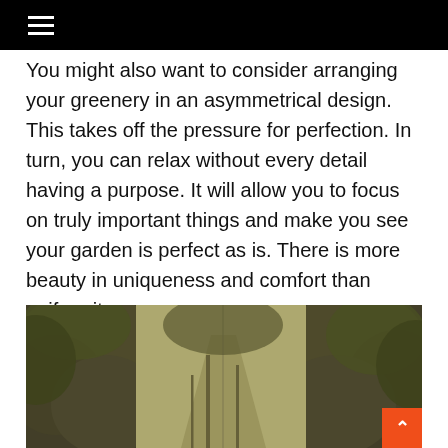≡
You might also want to consider arranging your greenery in an asymmetrical design. This takes off the pressure for perfection. In turn, you can relax without every detail having a purpose. It will allow you to focus on truly important things and make you see your garden is perfect as is. There is more beauty in uniqueness and comfort than uniformity.
[Figure (photo): A garden path flanked by dense green trees and foliage, giving a lush, natural feel with a sepia/warm tone overlay.]